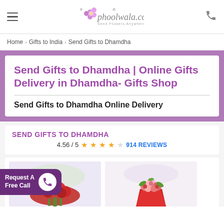phoolwala.com — Send Flowers Anywhere
Home › Gifts to India › Send Gifts to Dhamdha
Send Gifts to Dhamdha | Online Gifts Delivery in Dhamdha- Gifts Shop
Send Gifts to Dhamdha Online Delivery
SEND GIFTS TO DHAMDHA
4.56 / 5 ★★★★☆ 914 REVIEWS
[Figure (photo): Red flower bouquet product image]
[Figure (photo): Colorful flower bouquet in red wrapper product image]
Request A Free Call